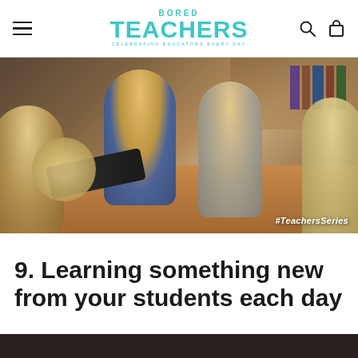BORED TEACHERS — Celebrating Educators Every Day
[Figure (photo): Children sitting around a table in a classroom or library setting, appearing engaged in discussion. A watermark reads #TeachersSeries in the bottom right corner.]
9. Learning something new from your students each day
[Figure (photo): Partial dark image at the bottom of the page, showing the beginning of another photo.]